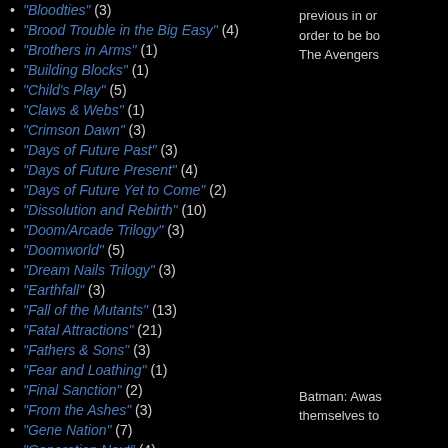"Bloodties" (3)
"Brood Trouble in the Big Easy" (4)
"Brothers in Arms" (1)
"Building Blocks" (1)
"Child's Play" (5)
"Claws & Webs" (1)
"Crimson Dawn" (3)
"Days of Future Past" (3)
"Days of Future Present" (4)
"Days of Future Yet to Come" (2)
"Dissolution and Rebirth" (10)
"Doom/Arcade Trilogy" (3)
"Doomworld" (5)
"Dream Nails Trilogy" (3)
"Earthfall" (3)
"Fall of the Mutants" (13)
"Fatal Attractions" (21)
"Fathers & Sons" (3)
"Fear and Loathing" (1)
"Final Sanction" (2)
"From the Ashes" (3)
"Gene Nation" (7)
"Generation Next" (4)
previous in order to be bo The Avengers
Batman: Awas themselves to